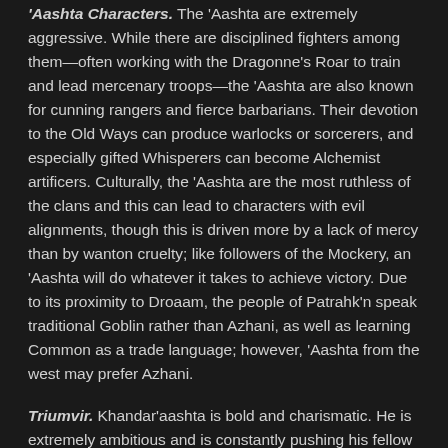'Aashta Characters. The 'Aashta are extremely aggressive. While there are disciplined fighters among them—often working with the Dragonne's Roar to train and lead mercenary troops—the 'Aashta are also known for cunning rangers and fierce barbarians. Their devotion to the Old Ways can produce warlocks or sorcerers, and especially gifted Whisperers can become Alchemist artificers. Culturally, the 'Aashta are the most ruthless of the clans and this can lead to characters with evil alignments, though this is driven more by a lack of mercy than by wanton cruelty; like followers of the Mockery, an 'Aashta will do whatever it takes to achieve victory. Due to its proximity to Droaam, the people of Patrahk'n speak traditional Goblin rather than Azhani, as well as learning Common as a trade language; however, 'Aashta from the west may prefer Azhani.
Triumvir. Khandar'aashta is bold and charismatic. He is extremely ambitious and is constantly pushing his fellow Triumvirs, seeking to expand the power of Tharashk even if it strains their relations with the rest of the Twelve. Khandar is a follower of the Old Ways; it's up to the DM to